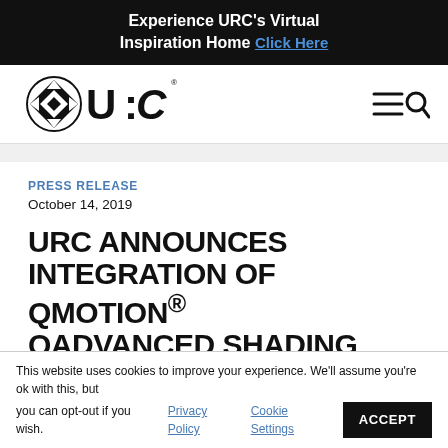Experience URC's Virtual Inspiration Home  Click Here
[Figure (logo): URC logo with diamond compass icon and bold URC lettering, with hamburger menu and search icons on the right]
PRESS RELEASE
October 14, 2019
URC ANNOUNCES INTEGRATION OF QMOTION® QADVANCED SHADING SYSTEMS WITH URC TOTAL
This website uses cookies to improve your experience. We'll assume you're ok with this, but you can opt-out if you wish. Privacy Policy  Cookie Settings  ACCEPT